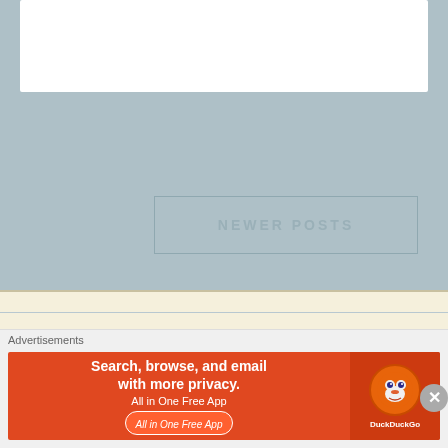[Figure (other): White card area at top of page, partially visible]
NEWER POSTS
Currently Reading
⬛⬛⬛⬛⬛⬛⬛⬛⬛⬛⬛⬛⬛ How to Survive As a Villain by Yi Yi Yi Yi
[Figure (illustration): Book cover for How to Survive As a Villain]
Advertisements
[Figure (screenshot): DuckDuckGo advertisement banner: Search, browse, and email with more privacy. All in One Free App]